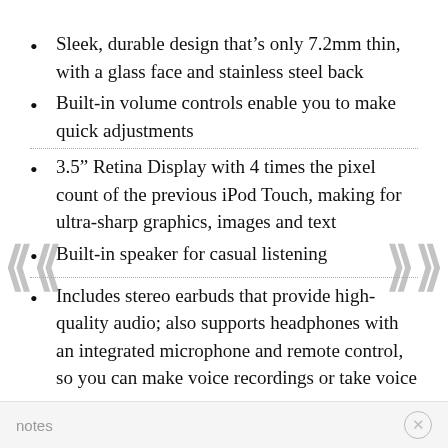Sleek, durable design that's only 7.2mm thin, with a glass face and stainless steel back
Built-in volume controls enable you to make quick adjustments
3.5" Retina Display with 4 times the pixel count of the previous iPod Touch, making for ultra-sharp graphics, images and text
Built-in speaker for casual listening
Includes stereo earbuds that provide high-quality audio; also supports headphones with an integrated microphone and remote control, so you can make voice recordings or take voice
notes